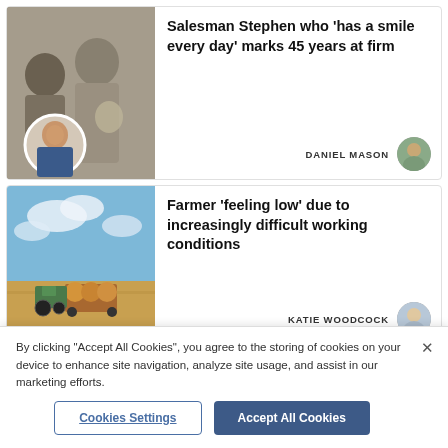[Figure (photo): News article card with black-and-white photo of a young man and an older man, with a circular inset color photo of a middle-aged man smiling in a suit]
Salesman Stephen who 'has a smile every day' marks 45 years at firm
DANIEL MASON
[Figure (photo): News article card with color photo of a farm field with hay bales on a trailer and a tractor, under a partly cloudy sky]
Farmer 'feeling low' due to increasingly difficult working conditions
KATIE WOODCOCK
By clicking "Accept All Cookies", you agree to the storing of cookies on your device to enhance site navigation, analyze site usage, and assist in our marketing efforts.
Cookies Settings
Accept All Cookies